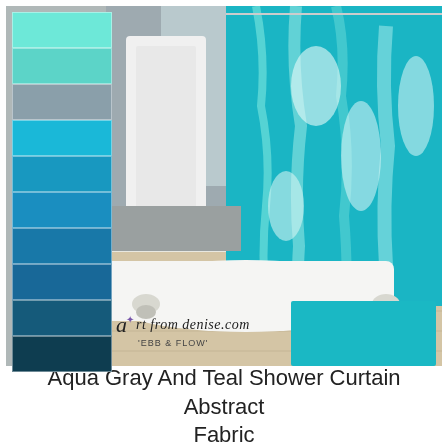[Figure (photo): Product lifestyle photo of a bathroom with a teal/aqua abstract print shower curtain, white clawfoot bathtub, teal bath mat on wood floor, and color palette swatches on the left side showing gradient from light aqua/mint at top through medium teal blues to dark teal at bottom. Logo reads 'art from denise.com – EBB & FLOW' in lower left.]
Aqua Gray And Teal Shower Curtain Abstract Fabric